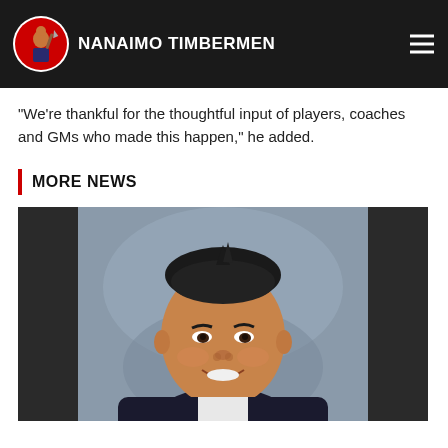NANAIMO TIMBERMEN
"We're thankful for the thoughtful input of players, coaches and GMs who made this happen," he added.
MORE NEWS
[Figure (photo): Headshot of a smiling man in a dark suit and white shirt, photographed against a blurred grey background]